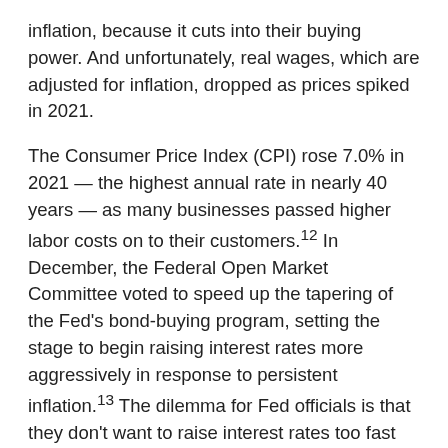inflation, because it cuts into their buying power. And unfortunately, real wages, which are adjusted for inflation, dropped as prices spiked in 2021.
The Consumer Price Index (CPI) rose 7.0% in 2021 — the highest annual rate in nearly 40 years — as many businesses passed higher labor costs on to their customers.12 In December, the Federal Open Market Committee voted to speed up the tapering of the Fed's bond-buying program, setting the stage to begin raising interest rates more aggressively in response to persistent inflation.13 The dilemma for Fed officials is that they don't want to raise interest rates too fast and risk cooling the economy if labor shortages and other supply-chain issues will fade in time. But they must also be ready to act if it looks as though wage increases could fuel a dreaded wage-price inflationary spiral.
Labor shortages ranked as the number-one external factor that U.S. CEOs think will have the greatest